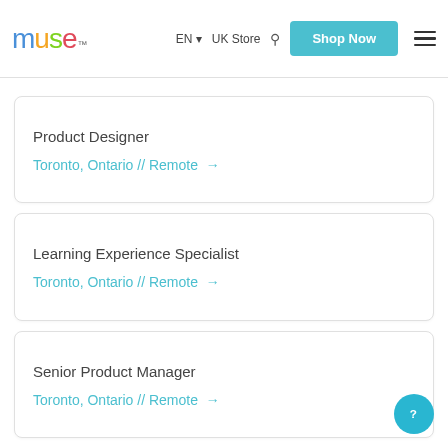muse™  EN ▾  UK Store  🔍  Shop Now  ≡
Product Designer
Toronto, Ontario // Remote →
Learning Experience Specialist
Toronto, Ontario // Remote →
Senior Product Manager
Toronto, Ontario // Remote →